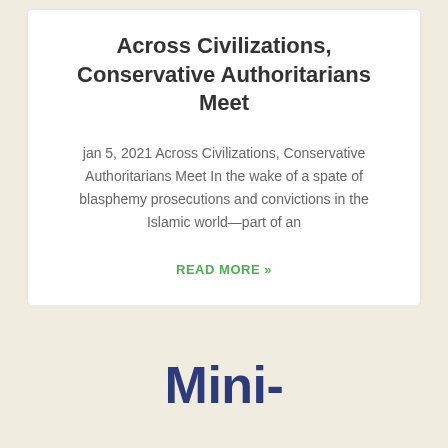Across Civilizations, Conservative Authoritarians Meet
jan 5, 2021 Across Civilizations, Conservative Authoritarians Meet In the wake of a spate of blasphemy prosecutions and convictions in the Islamic world—part of an
READ MORE »
Mini-